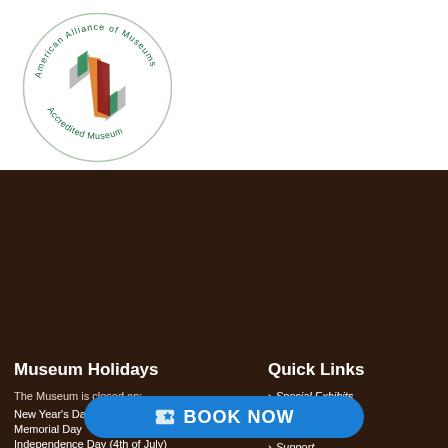[Figure (logo): American Alliance of Museums Accredited Museum circular logo with colorful interlocking diamond shapes in green, orange, red, and gray]
Museum Holidays
The Museum is closed on:
New Year's Day
Memorial Day
Independence Day (4th of July)
Labor Day
Thanksgiving Day
Christmas Day
Quick Links
Special Exhibits
Membership
Contact Us
Support
Events
Map
BOOK NOW